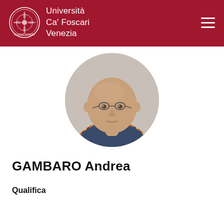Università Ca' Foscari Venezia
[Figure (photo): Circular profile photo of Andrea Gambaro, a bald man wearing glasses and a plaid shirt, against a light grey background.]
GAMBARO Andrea
Qualifica